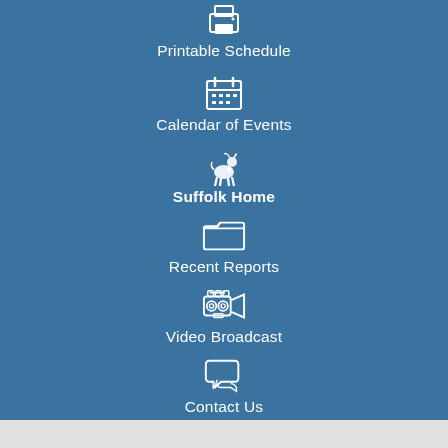Printable Schedule
Calendar of Events
Suffolk Home
Recent Reports
Video Broadcast
Contact Us